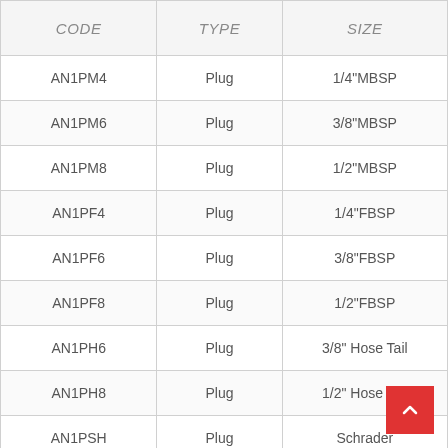| CODE | TYPE | SIZE |
| --- | --- | --- |
| AN1PM4 | Plug | 1/4"MBSP |
| AN1PM6 | Plug | 3/8"MBSP |
| AN1PM8 | Plug | 1/2"MBSP |
| AN1PF4 | Plug | 1/4"FBSP |
| AN1PF6 | Plug | 3/8"FBSP |
| AN1PF8 | Plug | 1/2"FBSP |
| AN1PH6 | Plug | 3/8" Hose Tail |
| AN1PH8 | Plug | 1/2" Hose Tail |
| AN1PSH | Plug | Schrader |